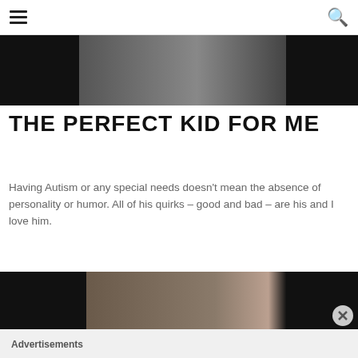Navigation header with menu icon and search icon
[Figure (photo): Partial photo showing two people outdoors, one in blue shirt, one in red shirt]
THE PERFECT KID FOR ME
Having Autism or any special needs doesn't mean the absence of personality or humor. All of his quirks – good and bad – are his and I love him.
[Figure (photo): Photo of a man and a young boy on a dark leather couch, boy leaning on man's shoulder]
Advertisements